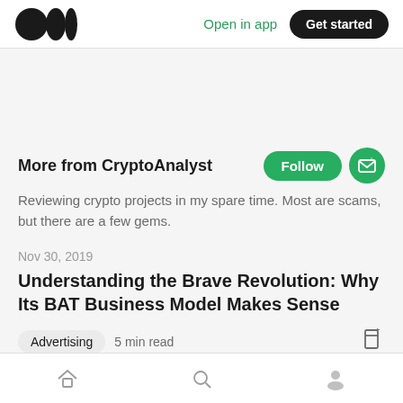Medium logo | Open in app | Get started
More from CryptoAnalyst
Reviewing crypto projects in my spare time. Most are scams, but there are a few gems.
Nov 30, 2019
Understanding the Brave Revolution: Why Its BAT Business Model Makes Sense
Advertising · 5 min read
Home | Search | Profile